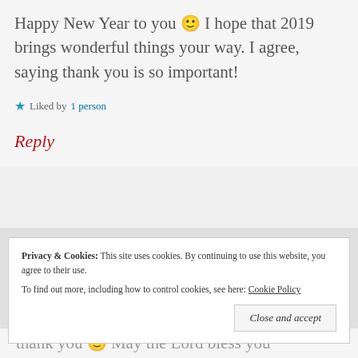Happy New Year to you 🙂 I hope that 2019 brings wonderful things your way. I agree, saying thank you is so important!
★ Liked by 1 person
Reply
Privacy & Cookies: This site uses cookies. By continuing to use this website, you agree to their use. To find out more, including how to control cookies, see here: Cookie Policy
Close and accept
thank you 🙂 May the Lord bless you